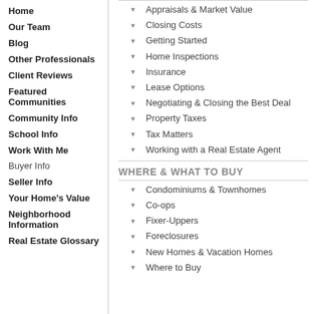Home
Our Team
Blog
Other Professionals
Client Reviews
Featured Communities
Community Info
School Info
Work With Me
Buyer Info
Seller Info
Your Home's Value
Neighborhood Information
Real Estate Glossary
Appraisals & Market Value
Closing Costs
Getting Started
Home Inspections
Insurance
Lease Options
Negotiating & Closing the Best Deal
Property Taxes
Tax Matters
Working with a Real Estate Agent
WHERE & WHAT TO BUY
Condominiums & Townhomes
Co-ops
Fixer-Uppers
Foreclosures
New Homes & Vacation Homes
Where to Buy